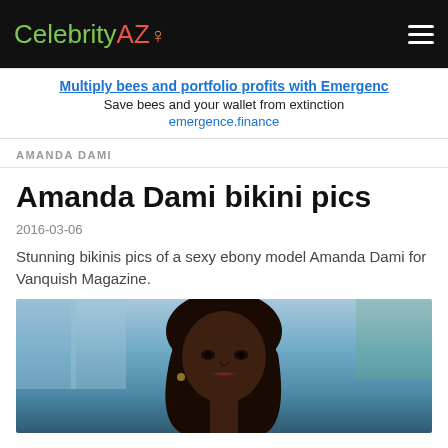CelebrityAZ
Multiply bees and portfolio profits with Emergenc
Save bees and your wallet from extinction
emergence.finance
AMANDA DAMI
Amanda Dami bikini pics
2016-03-06
Stunning bikinis pics of a sexy ebony model Amanda Dami for Vanquish Magazine.
[Figure (photo): Portrait photo of Amanda Dami, a young woman with long dark wavy hair, against a blurred blue/teal poolside background]